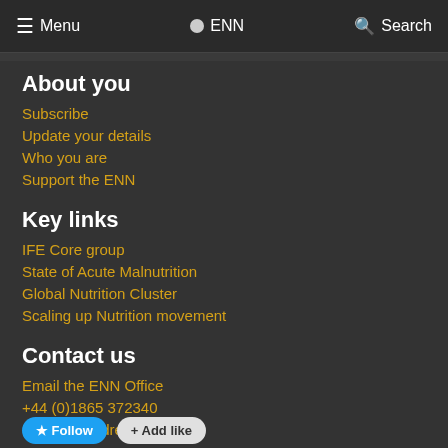Menu  ENN  Search
About you
Subscribe
Update your details
Who you are
Support the ENN
Key links
IFE Core group
State of Acute Malnutrition
Global Nutrition Cluster
Scaling up Nutrition movement
Contact us
Email the ENN Office
+44 (0)1865 372340
Map and address